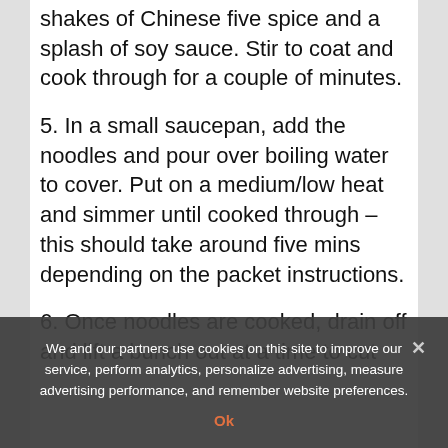shakes of Chinese five spice and a splash of soy sauce. Stir to coat and cook through for a couple of minutes.
5. In a small saucepan, add the noodles and pour over boiling water to cover. Put on a medium/low heat and simmer until cooked through – this should take around five mins depending on the packet instructions.
6. Once noodles are cooked, drain off and lift a bunch out at a time to cut four to five-inch strands into the wok with the vegetables. Add
We and our partners use cookies on this site to improve our service, perform analytics, personalize advertising, measure advertising performance, and remember website preferences.
Ok